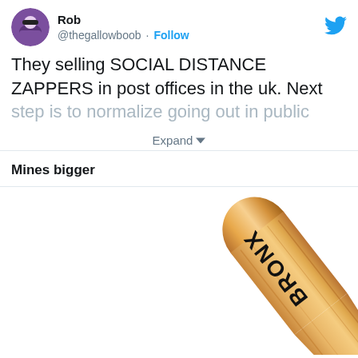[Figure (screenshot): Tweet from @thegallowboob (Rob) with avatar showing masked character. Tweet text: 'They selling SOCIAL DISTANCE ZAPPERS in post offices in the uk. Next step is to normalize going out in public' with an Expand button. Twitter bird logo in top right.]
Mines bigger
[Figure (photo): A wooden baseball bat photographed diagonally, with 'BRONX' text printed in black on the barrel, positioned in the lower right portion of the image against a white background.]